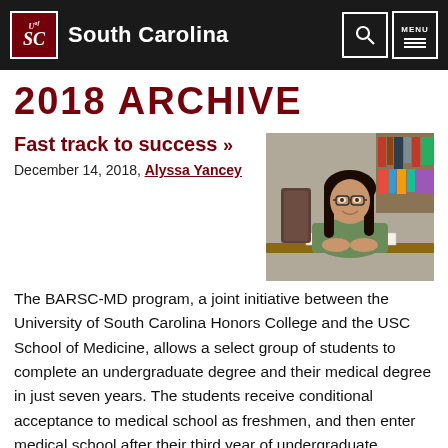University of South Carolina
2018 ARCHIVE
Fast track to success »
December 14, 2018, Alyssa Yancey
[Figure (photo): A young woman with long dark hair and glasses, wearing a green top, sitting at a desk with an open book, smiling at the camera. Bookshelves visible in the background.]
The BARSC-MD program, a joint initiative between the University of South Carolina Honors College and the USC School of Medicine, allows a select group of students to complete an undergraduate degree and their medical degree in just seven years. The students receive conditional acceptance to medical school as freshmen, and then enter medical school after their third year of undergraduate coursework.